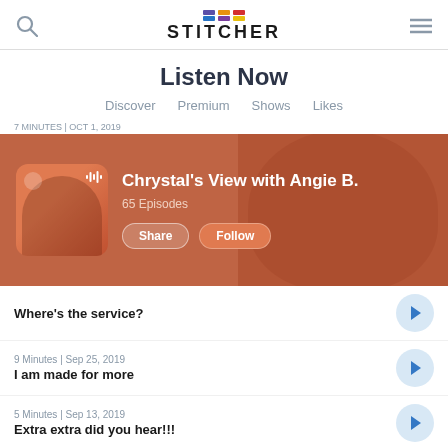[Figure (screenshot): Stitcher app logo with colorful bar segments above the text]
Listen Now
Discover
Premium
Shows
Likes
Chrystal's View with Angie B. — 65 Episodes — Share | Follow
Where's the service?
9 Minutes | Sep 25, 2019
I am made for more
5 Minutes | Sep 13, 2019
Extra extra did you hear!!!
7 Minutes | Aug 27, 2019
Testing testing 1.. 2.. 3...